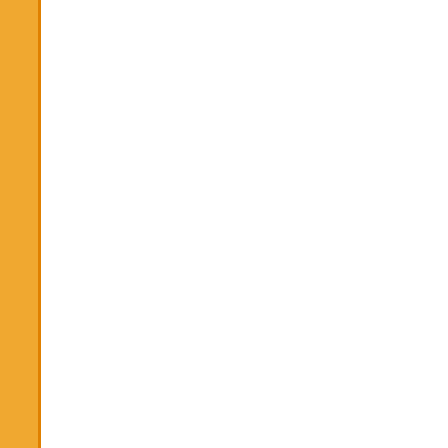| No. | Date | Link |
| --- | --- | --- |
|  |  | SET D (Page... |
| 404. | 07/07/2018 | JOINT B.ED SET D (Page... |
| 405. | 07/07/2018 | JOINT B.ED SET C (Page... |
| 406. | 07/07/2018 | JOINT B.ED SET B (Page... |
| 407. | 06/07/2018 | JOINT B.ED SET A |
| 408. | 04/07/2018 | Rates of exa... Fee Structur... |
| 409. | 29/06/2018 | Response of objections in... |
| 410. | 20/06/2018 | Answer key ... |
| 411. | 20/06/2018 | Answer Key ... |
| 412. | 20/06/2018 | Question Bo... |
| 413. | 19/06/2018 | Result of PU... Course-2018... |
| 414. | 19/06/2018 | UGLAW-201... |
| 415. | 19/06/2018 | Answer Key ... |